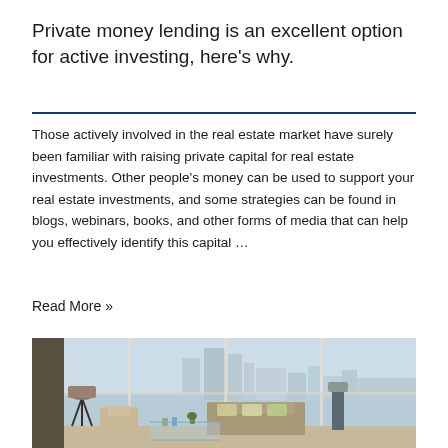Private money lending is an excellent option for active investing, here’s why.
Those actively involved in the real estate market have surely been familiar with raising private capital for real estate investments. Other people's money can be used to support your real estate investments, and some strategies can be found in blogs, webinars, books, and other forms of media that can help you effectively identify this capital …
Read More »
[Figure (photo): Interior photo of a luxury high-rise apartment living room with floor-to-ceiling windows overlooking a city skyline. Features a sofa, chairs, lamp, and glass coffee table.]